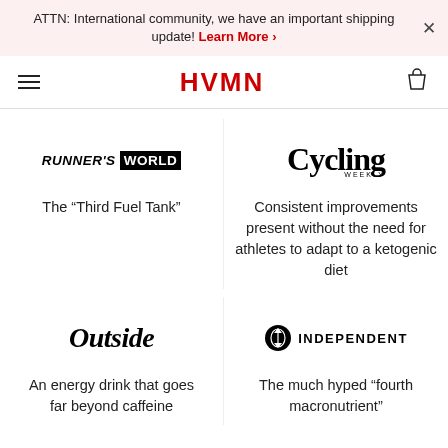ATTN: International community, we have an important shipping update! Learn More ›
[Figure (logo): HVMN logo in red with hamburger menu and bag icon navigation]
[Figure (logo): Runner's World logo in black]
The “Third Fuel Tank”
[Figure (logo): Cycling Weekly logo in black serif font]
Consistent improvements present without the need for athletes to adapt to a ketogenic diet
[Figure (logo): Outside magazine logo in black italic serif font]
An energy drink that goes far beyond caffeine
[Figure (logo): The Independent logo with eagle icon and text INDEPENDENT]
The much hyped “fourth macronutrient”